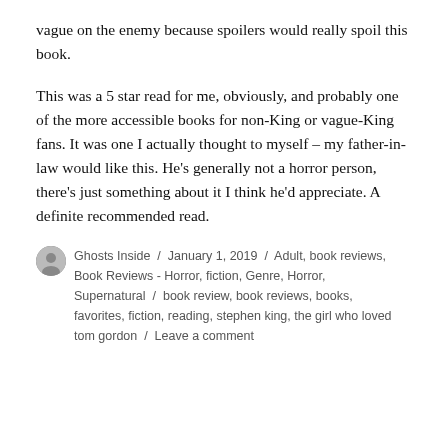vague on the enemy because spoilers would really spoil this book.
This was a 5 star read for me, obviously, and probably one of the more accessible books for non-King or vague-King fans. It was one I actually thought to myself – my father-in-law would like this. He's generally not a horror person, there's just something about it I think he'd appreciate. A definite recommended read.
Ghosts Inside / January 1, 2019 / Adult, book reviews, Book Reviews - Horror, fiction, Genre, Horror, Supernatural / book review, book reviews, books, favorites, fiction, reading, stephen king, the girl who loved tom gordon / Leave a comment